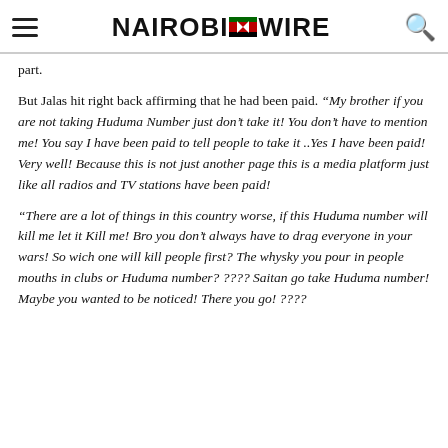Nairobi Wire
part.
But Jalas hit right back affirming that he had been paid. “My brother if you are not taking Huduma Number just don’t take it! You don’t have to mention me! You say I have been paid to tell people to take it ..Yes I have been paid! Very well! Because this is not just another page this is a media platform just like all radios and TV stations have been paid!
“There are a lot of things in this country worse, if this Huduma number will kill me let it Kill me! Bro you don’t always have to drag everyone in your wars! So wich one will kill people first? The whysky you pour in people mouths in clubs or Huduma number? ???? Saitan go take Huduma number! Maybe you wanted to be noticed! There you go! ????